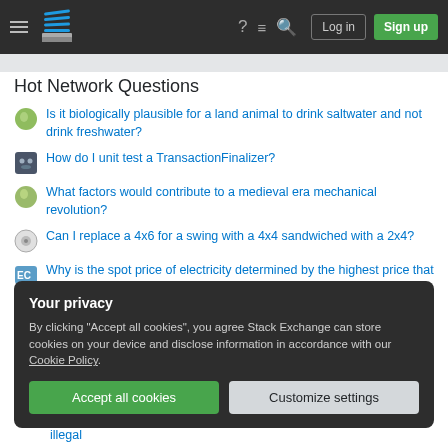Stack Exchange navigation bar with hamburger menu, logo, help, chat, search, Log in, Sign up buttons
Hot Network Questions
Is it biologically plausible for a land animal to drink saltwater and not drink freshwater?
How do I unit test a TransactionFinalizer?
What factors would contribute to a medieval era mechanical revolution?
Can I replace a 4x6 for a swing with a 4x4 sandwiched with a 2x4?
Why is the spot price of electricity determined by the highest price that gets offered? Can't they scale it according to the actually offered prices?
Your privacy
By clicking "Accept all cookies", you agree Stack Exchange can store cookies on your device and disclose information in accordance with our Cookie Policy.
Accept all cookies | Customize settings
illegal